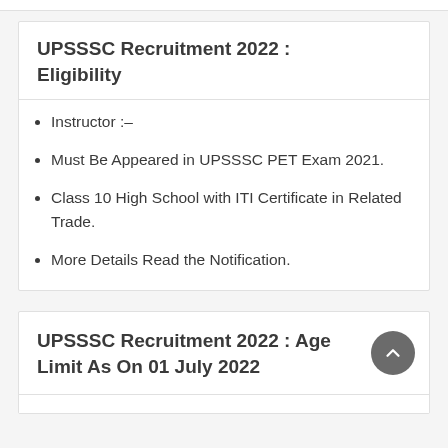UPSSSC Recruitment 2022 : Eligibility
Instructor :–
Must Be Appeared in UPSSSC PET Exam 2021.
Class 10 High School with ITI Certificate in Related Trade.
More Details Read the Notification.
UPSSSC Recruitment 2022 : Age Limit As On 01 July 2022